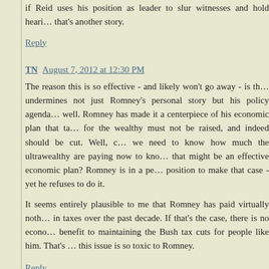if Reid uses his position as leader to slur witnesses and hold heari... that's another story.
Reply
TN  August 7, 2012 at 12:30 PM
The reason this is so effective - and likely won't go away - is th... undermines not just Romney's personal story but his policy agenda... well. Romney has made it a centerpiece of his economic plan that ta... for the wealthy must not be raised, and indeed should be cut. Well, c... we need to know how much the ultrawealthy are paying now to kno... that might be an effective economic plan? Romney is in a pe... position to make that case - yet he refuses to do it.
It seems entirely plausible to me that Romney has paid virtually noth... in taxes over the past decade. If that's the case, there is no econo... benefit to maintaining the Bush tax cuts for people like him. That's ... this issue is so toxic to Romney.
Reply
Matt Jarvis  August 7, 2012 at 12:50 PM
What I like about Reid's attack is that its just so much sauce for...